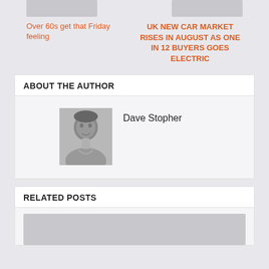[Figure (photo): Cropped gray placeholder image top left]
[Figure (photo): Cropped gray placeholder image top right]
Over 60s get that Friday feeling
UK NEW CAR MARKET RISES IN AUGUST AS ONE IN 12 BUYERS GOES ELECTRIC
ABOUT THE AUTHOR
[Figure (photo): Black and white headshot photo of Dave Stopher]
Dave Stopher
RELATED POSTS
[Figure (photo): Gray placeholder image for related post]